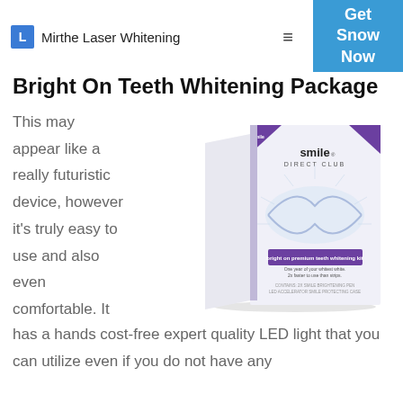Mirthe Laser Whitening | Get Snow Now
Bright On Teeth Whitening Package
This may appear like a really futuristic device, however it's truly easy to use and also even comfortable. It has a hands cost-free expert quality LED light that you can utilize even if you do not have any
[Figure (photo): Product box for Smile Direct Club bright on premium teeth whitening kit]